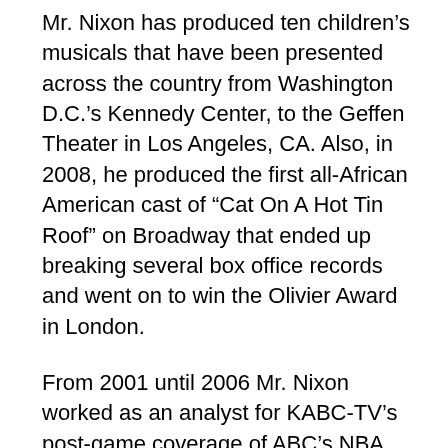Mr. Nixon has produced ten children’s musicals that have been presented across the country from Washington D.C.’s Kennedy Center, to the Geffen Theater in Los Angeles, CA. Also, in 2008, he produced the first all-African American cast of “Cat On A Hot Tin Roof” on Broadway that ended up breaking several box office records and went on to win the Olivier Award in London.
From 2001 until 2006 Mr. Nixon worked as an analyst for KABC-TV’s post-game coverage of ABC’s NBA telecasts. In 2007 he signed on with Fox Sports Net to host the Los Angeles Lakers pre-game and post-game telecast and most recently rejoined KABC-TV.